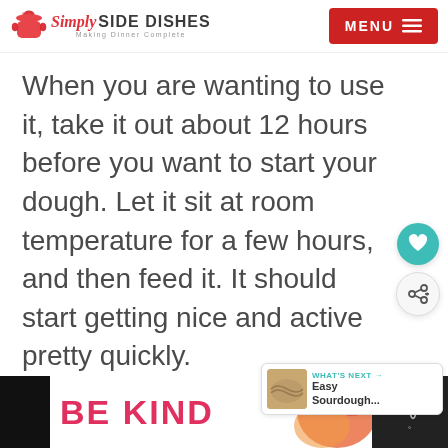[Figure (logo): Simply Side Dishes logo with red pot icon, styled text, and tagline 'Making Dinner Complete']
[Figure (other): Red MENU button with hamburger icon in top right]
When you are wanting to use it, take it out about 12 hours before you want to start your dough. Let it sit at room temperature for a few hours, and then feed it. It should start getting nice and active pretty quickly.
[Figure (other): Teal heart/favorite floating action button and share floating action button on right side]
[Figure (other): What's Next widget showing Easy Sourdough... with bread image thumbnail]
[Figure (other): Ad banner at bottom: black sides, white center with BE KIND text in red/pink, decorative orange/red graphic, and close buttons]